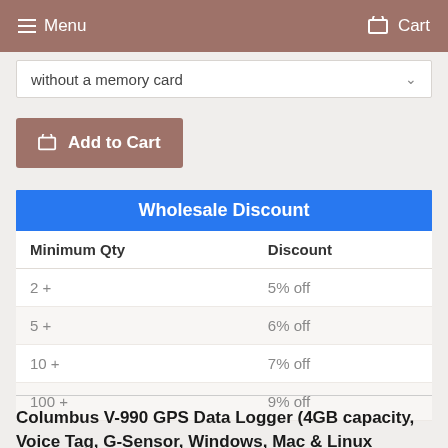Menu   Cart
without a memory card
Add to Cart
| Minimum Qty | Discount |
| --- | --- |
| 2 + | 5% off |
| 5 + | 6% off |
| 10 + | 7% off |
| 100 + | 9% off |
Columbus V-990 GPS Data Logger (4GB capacity, Voice Tag, G-Sensor, Windows, Mac & Linux Compatible)